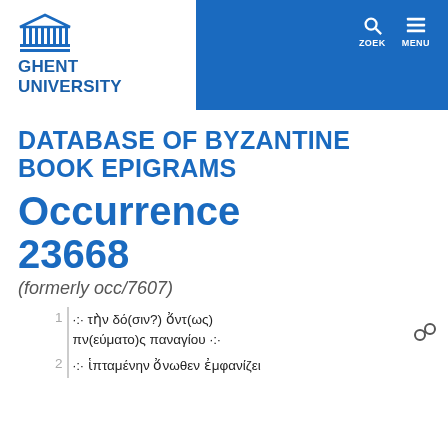[Figure (logo): Ghent University logo with temple/columns icon and text GHENT UNIVERSITY in blue]
DATABASE OF BYZANTINE BOOK EPIGRAMS
Occurrence 23668
(formerly occ/7607)
1  ·:· τὴν δό(σιν?) ὄντ(ως) πν(εύματο)ς παναγίου ·:·
2  ·:· ἱπταμένην ὄνωθεν ἐμφανίζει